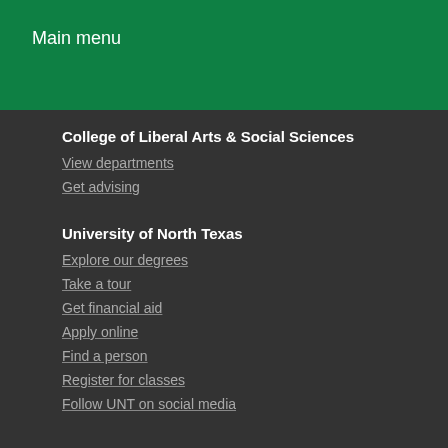Main menu
College of Liberal Arts & Social Sciences
View departments
Get advising
University of North Texas
Explore our degrees
Take a tour
Get financial aid
Apply online
Find a person
Register for classes
Follow UNT on social media